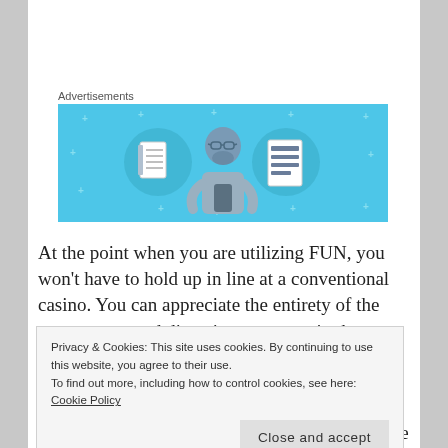Advertisements
[Figure (illustration): Advertisement banner with blue background showing a cartoon person holding a phone, flanked by two circular icons: a notebook on the left and a lined document on the right, with small plus/star decorations scattered around.]
At the point when you are utilizing FUN, you won't have to hold up in line at a conventional casino. You can appreciate the entirety of the great games and diversion you want in the
Privacy & Cookies: This site uses cookies. By continuing to use this website, you agree to their use.
To find out more, including how to control cookies, see here: Cookie Policy
Close and accept
You can likewise appreciate other highlights like